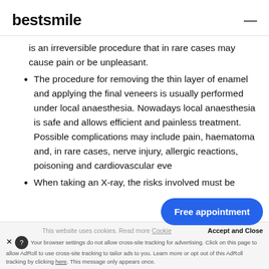bestsmile
is an irreversible procedure that in rare cases may cause pain or be unpleasant.
The procedure for removing the thin layer of enamel and applying the final veneers is usually performed under local anaesthesia. Nowadays local anaesthesia is safe and allows efficient and painless treatment. Possible complications may include pain, haematoma and, in rare cases, nerve injury, allergic reactions, and poisoning and cardiovascular eve…
When taking an X-ray, the risks involved must be
This website uses cookies. Read more Cookie | Accept and Close | Your browser settings do not allow cross-site tracking for advertising. Click on this page to allow AdRoll to use cross-site tracking to tailor ads to you. Learn more or opt out of this AdRoll tracking by clicking here. This message only appears once.